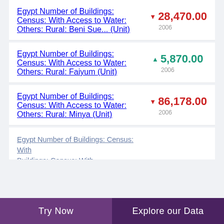Egypt Number of Buildings: Census: With Access to Water: Others: Rural: Beni Sue... (Unit) ▼ 28,470.00 2006
Egypt Number of Buildings: Census: With Access to Water: Others: Rural: Faiyum (Unit) ▲ 5,870.00 2006
Egypt Number of Buildings: Census: With Access to Water: Others: Rural: Minya (Unit) ▼ 86,178.00 2006
Egypt Number of Buildings: Census: With Access to Water: Others: Rural: [partial]
Try Now   Explore our Data